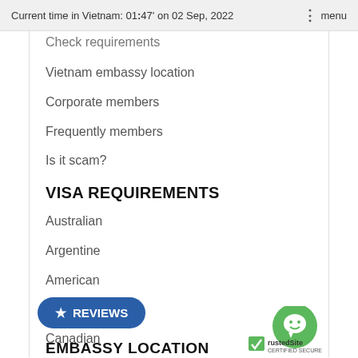Current time in Vietnam: 01:47' on 02 Sep, 2022   ⋮ menu
Check requirements
Vietnam embassy location
Corporate members
Frequently members
Is it scam?
VISA REQUIREMENTS
Australian
Argentine
American
Albanian
Canadian
Italian
Brazilian
[Figure (other): Trusted Site Certified Secure badge with chat icon]
EMBASSY LOCATION